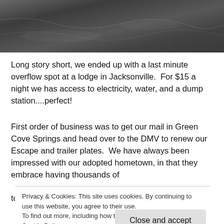[Figure (photo): Dark gray textured surface, appears to be a stamped concrete or stone patio/ground surface viewed from above, with a cracked/patterned texture in dark gray tones.]
Long story short, we ended up with a last minute overflow spot at a lodge in Jacksonville.  For $15 a night we has access to electricity, water, and a dump station....perfect!
First order of business was to get our mail in Green Cove Springs and head over to the DMV to renew our Escape and trailer plates.  We have always been impressed with our adopted hometown, in that they embrace having thousands of t
Privacy & Cookies: This site uses cookies. By continuing to use this website, you agree to their use.
To find out more, including how to control cookies, see here: Cookie Policy
Close and accept
to say they outdid themselves.  We pulled into the parking lot